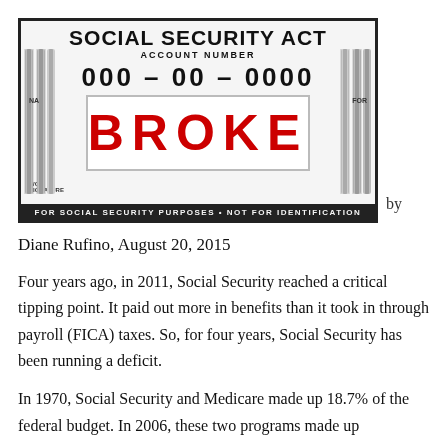[Figure (illustration): A Social Security card styled image with 'BROKE' stamped in red across it. Card reads: SOCIAL SECURITY ACT, ACCOUNT NUMBER, 000-00-0000, FOR SOCIAL SECURITY PURPOSES • NOT FOR IDENTIFICATION]
by
Diane Rufino, August 20, 2015
Four years ago, in 2011, Social Security reached a critical tipping point. It paid out more in benefits than it took in through payroll (FICA) taxes. So, for four years, Social Security has been running a deficit.
In 1970, Social Security and Medicare made up 18.7% of the federal budget. In 2006, these two programs made up